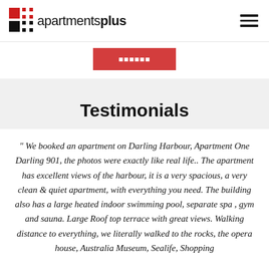apartmentsplus
[Figure (logo): Apartments Plus logo with red and black grid icon and text 'apartmentsplus' with 'plus' in bold]
" We booked an apartment on Darling Harbour, Apartment One Darling 901, the photos were exactly like real life.. The apartment has excellent views of the harbour, it is a very spacious, a very clean & quiet apartment, with everything you need. The building also has a large heated indoor swimming pool, separate spa , gym and sauna. Large Roof top terrace with great views. Walking distance to everything, we literally walked to the rocks, the opera house, Australia Museum, Sealife, Shopping